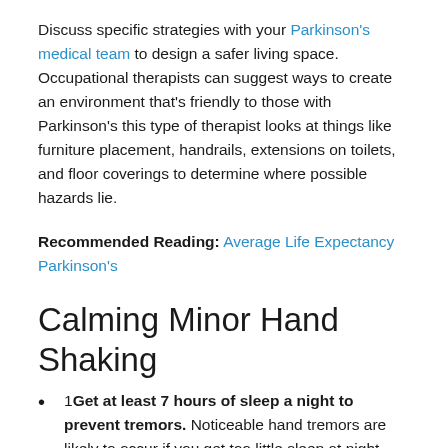Discuss specific strategies with your Parkinson's medical team to design a safer living space. Occupational therapists can suggest ways to create an environment that's friendly to those with Parkinson's this type of therapist looks at things like furniture placement, handrails, extensions on toilets, and floor coverings to determine where possible hazards lie.
Recommended Reading: Average Life Expectancy Parkinson's
Calming Minor Hand Shaking
1Get at least 7 hours of sleep a night to prevent tremors. Noticeable hand tremors are likely to occur if you get too little sleep at night. Sleep helps to regulate your automatic nervous system, as well as your heartbeat and blood